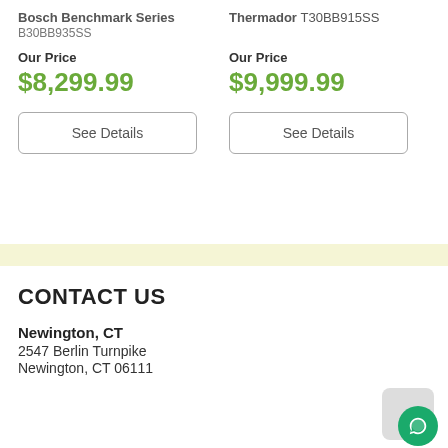Bosch Benchmark Series B30BB935SS
Our Price $8,299.99
See Details
Thermador T30BB915SS
Our Price $9,999.99
See Details
CONTACT US
Newington, CT
2547 Berlin Turnpike
Newington, CT 06111